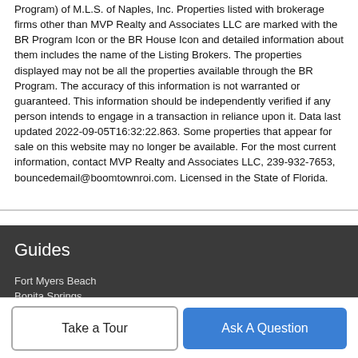Program) of M.L.S. of Naples, Inc. Properties listed with brokerage firms other than MVP Realty and Associates LLC are marked with the BR Program Icon or the BR House Icon and detailed information about them includes the name of the Listing Brokers. The properties displayed may not be all the properties available through the BR Program. The accuracy of this information is not warranted or guaranteed. This information should be independently verified if any person intends to engage in a transaction in reliance upon it. Data last updated 2022-09-05T16:32:22.863. Some properties that appear for sale on this website may no longer be available. For the most current information, contact MVP Realty and Associates LLC, 239-932-7653, bouncedemail@boomtownroi.com. Licensed in the State of Florida.
Guides
Fort Myers Beach
Bonita Springs